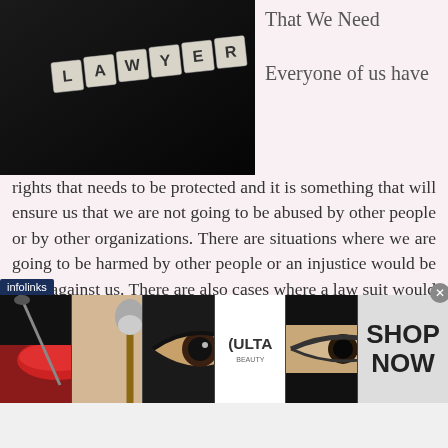[Figure (photo): Black and white photo of Scrabble tiles spelling LAWYER on a dark surface]
That We Need
Everyone of us have rights that needs to be protected and it is something that will ensure us that we are not going to be abused by other people or by other organizations. There are situations where we are going to be harmed by other people or an injustice would be done against us. There are also cases where a law suit would be filed against us for committing something wrong or we may be wrongfully accused. In order for us to be able to uphold rights and defend ourselves properly, it is important
[Figure (photo): Ulta Beauty advertisement banner showing makeup images and SHOP NOW call to action]